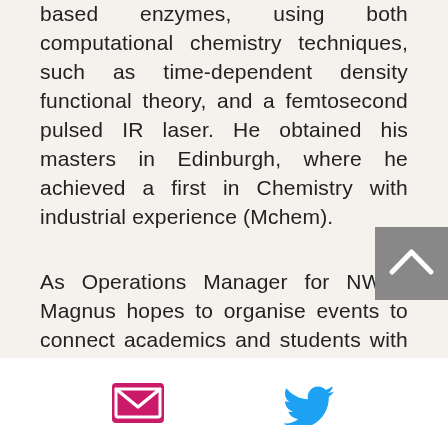based enzymes, using both computational chemistry techniques, such as time-dependent density functional theory, and a femtosecond pulsed IR laser. He obtained his masters in Edinburgh, where he achieved a first in Chemistry with industrial experience (Mchem).
As Operations Manager for NWBI, Magnus hopes to organise events to connect academics and students with the rapidly expanding biotech industry...
[Figure (other): Back to top button (grey square with white upward arrow)]
[Figure (other): Footer bar with email icon (pink/magenta envelope) and Twitter bird icon (cyan/blue)]